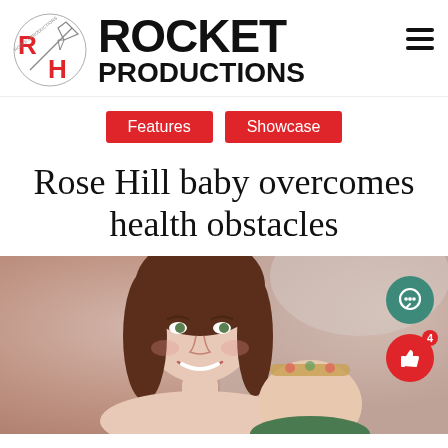[Figure (logo): Rocket Productions logo with RH letters in red and a rocket/lightning bolt graphic. Bold text reads ROCKET PRODUCTIONS.]
Features
Showcase
Rose Hill baby overcomes health obstacles
[Figure (photo): A smiling young woman with long brown hair holding a baby wearing a floral headband. The photo has a soft, warm background.]